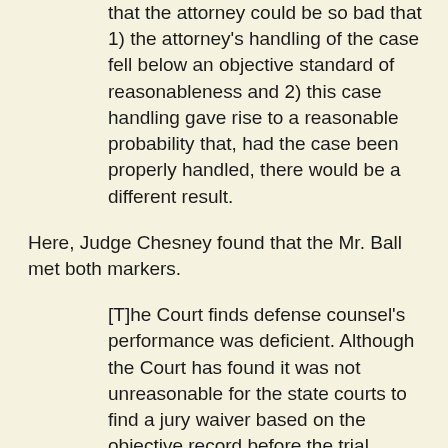that the attorney could be so bad that 1) the attorney's handling of the case fell below an objective standard of reasonableness and 2) this case handling gave rise to a reasonable probability that, had the case been properly handled, there would be a different result.
Here, Judge Chesney found that the Mr. Ball met both markers.
[T]he Court finds defense counsel's performance was deficient. Although the Court has found it was not unreasonable for the state courts to find a jury waiver based on the objective record before the trial court, nothing in that record directly contradicts defense counsel's declaration as to his subjective understanding. Indeed, this Court can think of no tactical advantage in defense counsel's waiver of a jury finding as to the actual predicate for an enhancement based on the very issues presented to the jury on the charged offense, let alone a highly contested issue such as petitioner's use of the chain